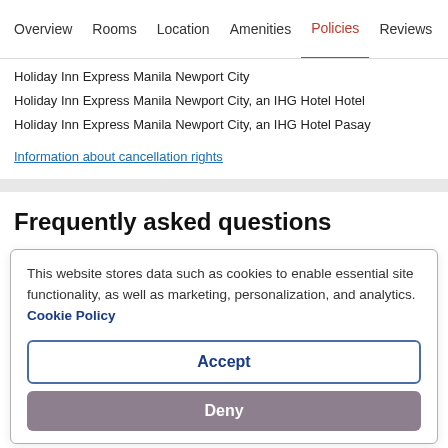Overview  Rooms  Location  Amenities  Policies  Reviews
Holiday Inn Express Manila Newport City
Holiday Inn Express Manila Newport City, an IHG Hotel Hotel
Holiday Inn Express Manila Newport City, an IHG Hotel Pasay
Information about cancellation rights
Frequently asked questions
This website stores data such as cookies to enable essential site functionality, as well as marketing, personalization, and analytics. Cookie Policy
Accept
Deny